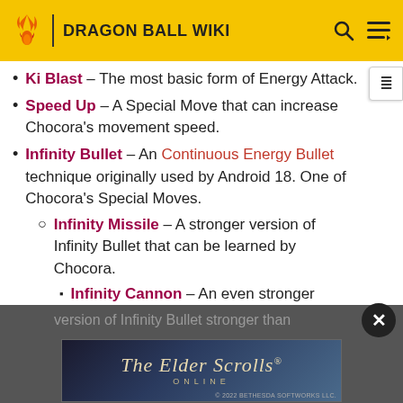DRAGON BALL WIKI
Ki Blast – The most basic form of Energy Attack.
Speed Up – A Special Move that can increase Chocora's movement speed.
Infinity Bullet – An Continuous Energy Bullet technique originally used by Android 18. One of Chocora's Special Moves.
Infinity Missile – A stronger version of Infinity Bullet that can be learned by Chocora.
Infinity Cannon – An even stronger version of Infinity Bullet stronger than
[Figure (screenshot): The Elder Scrolls Online advertisement banner by Bethesda Softworks LLC 2022]
Galactic Buster – A technique originally used by Bojack which can be learned by Chocora.